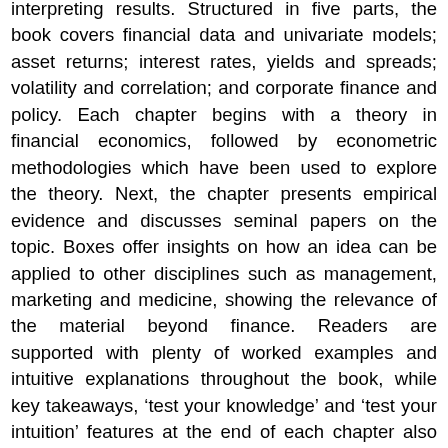interpreting results. Structured in five parts, the book covers financial data and univariate models; asset returns; interest rates, yields and spreads; volatility and correlation; and corporate finance and policy. Each chapter begins with a theory in financial economics, followed by econometric methodologies which have been used to explore the theory. Next, the chapter presents empirical evidence and discusses seminal papers on the topic. Boxes offer insights on how an idea can be applied to other disciplines such as management, marketing and medicine, showing the relevance of the material beyond finance. Readers are supported with plenty of worked examples and intuitive explanations throughout the book, while key takeaways, 'test your knowledge' and 'test your intuition' features at the end of each chapter also aid student learning. Digital supplements including PowerPoint slides, computer codes supplements, an Instructor's Manual and Solutions Manual are available for instructors. This textbook is suitable for upper-level undergraduate and graduate courses on financial economics, financial